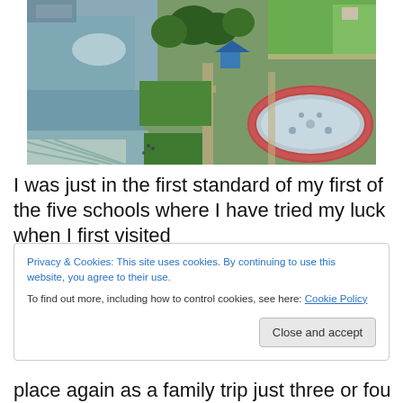[Figure (photo): Aerial view of a park and waterfront area with green lawns, trees, a river/lake with structures along the bank, pathways, a blue structure, and an oval-shaped pool/fountain with pink/red borders in the right foreground.]
I was just in the first standard of my first of the five schools where I have tried my luck when I first visited
Privacy & Cookies: This site uses cookies. By continuing to use this website, you agree to their use.
To find out more, including how to control cookies, see here: Cookie Policy
Close and accept
place again as a family trip just three or four years after